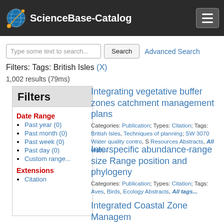ScienceBase-Catalog
Type some text to search... | Search | Advanced Search
Filters: Tags: British Isles (X)
1,002 results (79ms)
Filters
Date Range
Past year (0)
Past month (0)
Past week (0)
Past day (0)
Custom range...
Extensions
Citation
Integrating vegetative buffer zones catchment management plans
Categories: Publication; Types: Citation; Tags: British Isles, Techniques of planning; SW 3070 Water quality contro, S Resources Abstracts, All tags...
Interspecific abundance-range size Range position and phylogeny
Categories: Publication; Types: Citation; Tags: Aves, Birds, Ecology Abstracts, All tags...
Integrated Coastal Zone Managem